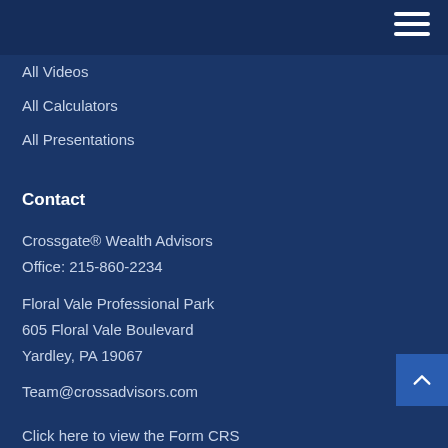All Videos
All Calculators
All Presentations
Contact
Crossgate® Wealth Advisors
Office: 215-860-2234
Floral Vale Professional Park
605 Floral Vale Boulevard
Yardley, PA 19067
Team@crossadvisors.com
Click here to view the Form CRS